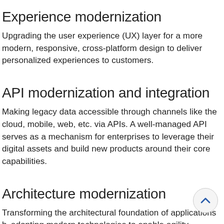Experience modernization
Upgrading the user experience (UX) layer for a more modern, responsive, cross-platform design to deliver personalized experiences to customers.
API modernization and integration
Making legacy data accessible through channels like the cloud, mobile, web, etc. via APIs. A well-managed API serves as a mechanism for enterprises to leverage their digital assets and build new products around their core capabilities.
Architecture modernization
Transforming the architectural foundation of applications by adopting modern technologies to enable agility, scalability, portability, speed-to-market, development efficiency, and ongoing